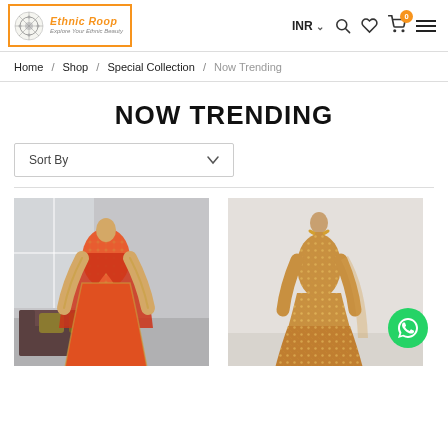Ethnic Roop — Explore Your Ethnic Beauty — INR — Cart 0
Home / Shop / Special Collection / Now Trending
NOW TRENDING
Sort By
[Figure (photo): Mannequin wearing a red and gold embroidered bridal lehenga/anarkali gown with dupatta, displayed in a room with a dark sofa and cushions.]
[Figure (photo): Mannequin wearing a golden/bronze heavily embroidered tiered bridal lehenga with a floral motif choker neckline, displayed against a white wall. WhatsApp chat button visible.]